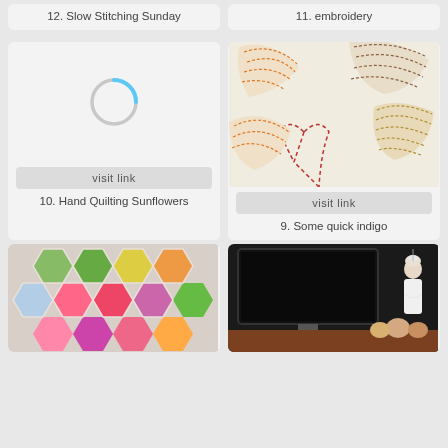12. Slow Stitching Sunday
11. embroidery
[Figure (other): Loading spinner (blue arc) in a gray card]
[Figure (photo): Close-up photo of embroidery stitching with leaf and fan shapes in orange, red, and gold thread on white fabric]
visit link
visit link
10. Hand Quilting Sunflowers
9. Some quick indigo
[Figure (photo): Close-up of colorful hexagon quilt with green, pink, blue, and purple fabric pieces]
[Figure (photo): Dark room with TV and a doll in a white dress displayed on a wooden shelf with decorative items]